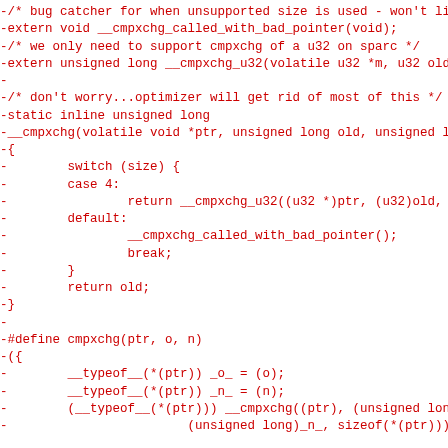-/* bug catcher for when unsupported size is used - won't lin
-extern void __cmpxchg_called_with_bad_pointer(void);
-/* we only need to support cmpxchg of a u32 on sparc */
-extern unsigned long __cmpxchg_u32(volatile u32 *m, u32 old,
-
-/* don't worry...optimizer will get rid of most of this */
-static inline unsigned long
-__cmpxchg(volatile void *ptr, unsigned long old, unsigned lo
-{
-        switch (size) {
-        case 4:
-                return __cmpxchg_u32((u32 *)ptr, (u32)old, (u
-        default:
-                __cmpxchg_called_with_bad_pointer();
-                break;
-        }
-        return old;
-}
-
-#define cmpxchg(ptr, o, n)
-({
-        __typeof__(*(ptr)) _o_ = (o);
-        __typeof__(*(ptr)) _n_ = (n);
-        (__typeof__(*(ptr))) __cmpxchg((ptr), (unsigned long)
-                        (unsigned long)_n_, sizeof(*(ptr)));